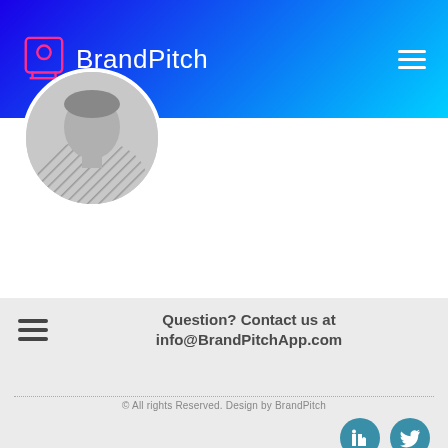BrandPitch
[Figure (photo): Circular cropped black-and-white portrait photo of a person in a striped shirt, partially visible]
Question? Contact us at info@BrandPitchApp.com
© All rights Reserved. Design by BrandPitch
[Figure (logo): LinkedIn icon button (teal circle with 'in' symbol)]
[Figure (logo): Twitter icon button (teal circle with bird symbol)]